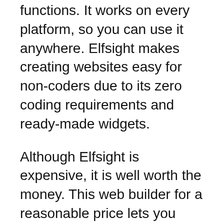functions. It works on every platform, so you can use it anywhere. Elfsight makes creating websites easy for non-coders due to its zero coding requirements and ready-made widgets.
Although Elfsight is expensive, it is well worth the money. This web builder for a reasonable price lets you incorporate a variety of features and services without the need to learn any programming. The software can be used to build any type of website, including eCommerce sites and blogs. Some features are particularly useful for eCommerce sites, such as contact forms, photo galleries, and checkout processes.
Increase sales using